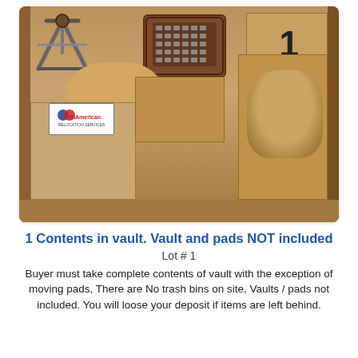[Figure (photo): Photo of open wooden storage vault filled with cardboard boxes, brown paper bags, a chair, a pet carrier or electronic device, and moving supplies. A North American Relocation Services box is visible in the lower left, and a cardboard box labeled with the number '1' is in the upper right.]
1 Contents in vault. Vault and pads NOT included
Lot # 1
Buyer must take complete contents of vault with the exception of moving pads, There are No trash bins on site, Vaults / pads not included. You will loose your deposit if items are left behind.